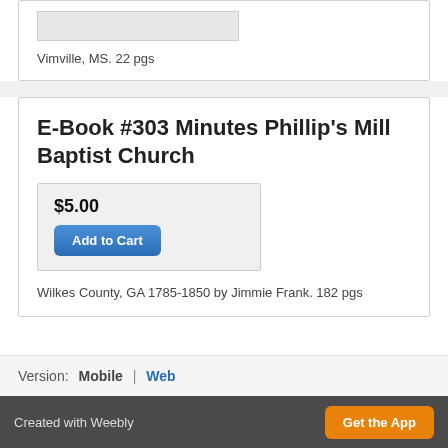[Figure (other): Partial product image placeholder (gray rectangle)]
Vimville, MS. 22 pgs
E-Book #303 Minutes Phillip's Mill Baptist Church
$5.00
Add to Cart
Wilkes County, GA 1785-1850 by Jimmie Frank. 182 pgs
Version:  Mobile  |  Web
Created with Weebly  Get the App